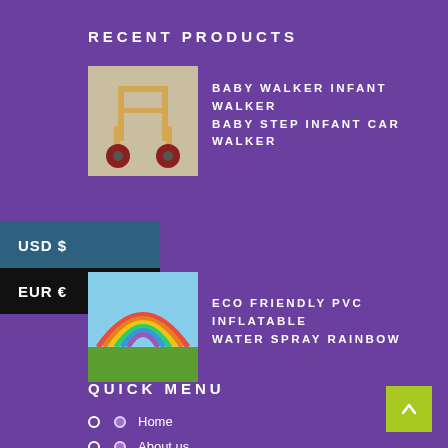RECENT PRODUCTS
[Figure (photo): Baby walker toy - wooden infant walker with red wheels]
BABY WALKER INFANT WALKER BABY STEP INFANT CAR WALKER
USD $
EUR €
[Figure (photo): Eco friendly PVC inflatable water spray rainbow toy outdoors]
ECO FRIENDLY PVC INFLATABLE WATER SPRAY RAINBOW
QUICK MENU
Home
About us
Shop
CONTACT US